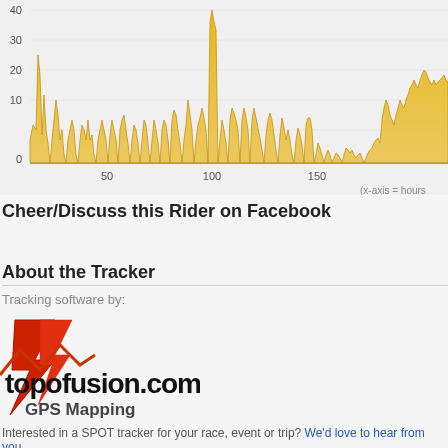[Figure (area-chart): Area chart showing rider speed (y-axis 0-40) over time (x-axis 0-~200 hours). Golden/yellow filled area with spiky pattern, high activity early then tapering, with a spike near 100 and rise near end.]
(x-axis = hours
Cheer/Discuss this Rider on Facebook
About the Tracker
Tracking software by:
[Figure (logo): topofusion.com GPS Mapping logo with red lightning bolt graphic]
Interested in a SPOT tracker for your race, event or trip? We'd love to hear from you.